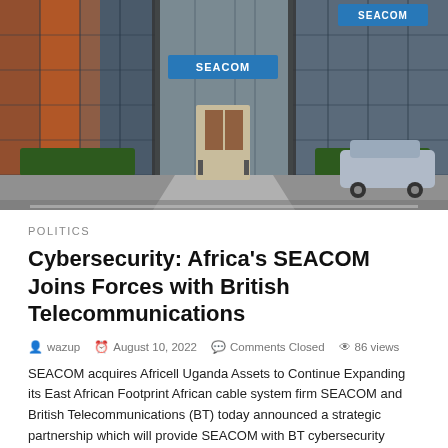[Figure (photo): Exterior of a SEACOM office building with glass facade, SEACOM signage visible on the building, green hedges, a walkway, and a car parked to the right.]
POLITICS
Cybersecurity: Africa's SEACOM Joins Forces with British Telecommunications
wazup   August 10, 2022   Comments Closed   86 views
SEACOM acquires Africell Uganda Assets to Continue Expanding its East African Footprint African cable system firm SEACOM and British Telecommunications (BT) today announced a strategic partnership which will provide SEACOM with BT cybersecurity systems in order to further